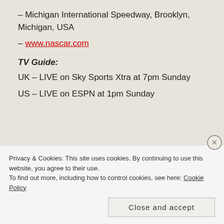– Michigan International Speedway, Brooklyn, Michigan, USA
– www.nascar.com
TV Guide:
UK – LIVE on Sky Sports Xtra at 7pm Sunday
US – LIVE on ESPN at 1pm Sunday
NASCAR NATIONWIDE SERIES
Privacy & Cookies: This site uses cookies. By continuing to use this website, you agree to their use.
To find out more, including how to control cookies, see here: Cookie Policy
Close and accept